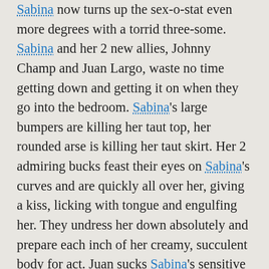Sabina now turns up the sex-o-stat even more degrees with a torrid three-some. Sabina and her 2 new allies, Johnny Champ and Juan Largo, waste no time getting down and getting it on when they go into the bedroom. Sabina's large bumpers are killing her taut top, her rounded arse is killing her taut skirt. Her 2 admiring bucks feast their eyes on Sabina's curves and are quickly all over her, giving a kiss, licking with tongue and engulfing her. They undress her down absolutely and prepare each inch of her creamy, succulent body for act. Juan sucks Sabina's sensitive teats as that babe leans over him and, with Sabina's a-hole bent over invitingly, Johnny lowers her knicker briefs and fingers her wetting bawdy cleft, preparing it for their pumping pistons. Sabina desires their dicks in her fists and mouth and kneels to jerk off and engulf 'em. Then they lay back on the bed, Sabina in the centre so this babe can simultaneously jerk 'em